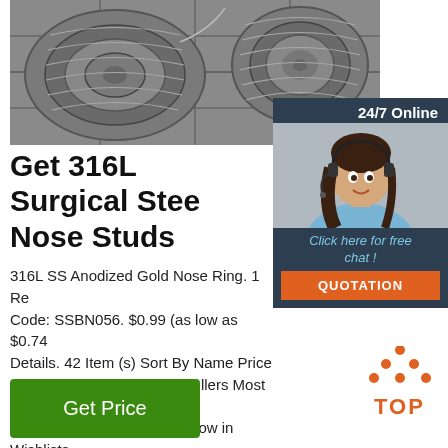[Figure (photo): Coils of stainless steel wire rope on a tiled floor]
[Figure (photo): 24/7 Online chat widget with woman wearing headset, Click here for free chat button, and QUOTATION button]
Get 316L Surgical Steel Nose Studs
316L SS Anodized Gold Nose Ring. 1 Re... Code: SSBN056. $0.99 (as low as $0.74... Details. 42 Item (s) Sort By Name Price ... New Biggest Saving Best Sellers Most V... Top Rated Reviews Count Now in Wishlists Quantity Profit Revenue Revenue per View Order per View. Show 60 80 100 per page. View as:
[Figure (logo): TOP logo with orange dots and text]
Get Price